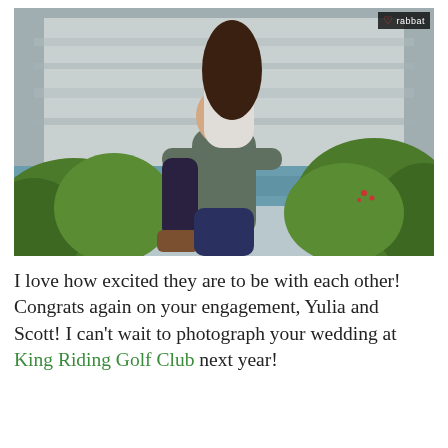[Figure (photo): Engagement photo of a couple outdoors. A man holds a woman in his arms; she is laughing with delight. Background shows a rocky cliff face, a body of water, and green foliage. A photographer logo 'rabbat' with a heart symbol appears in the upper right corner of the photo.]
I love how excited they are to be with each other!  Congrats again on your engagement, Yulia and Scott! I can't wait to photograph your wedding at King Riding Golf Club next year!